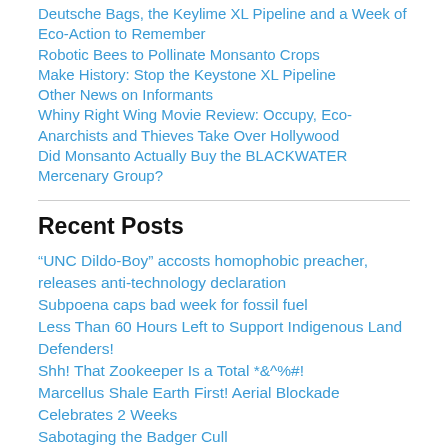Deutsche Bags, the Keylime XL Pipeline and a Week of Eco-Action to Remember
Robotic Bees to Pollinate Monsanto Crops
Make History: Stop the Keystone XL Pipeline
Other News on Informants
Whiny Right Wing Movie Review: Occupy, Eco-Anarchists and Thieves Take Over Hollywood
Did Monsanto Actually Buy the BLACKWATER Mercenary Group?
Recent Posts
“UNC Dildo-Boy” accosts homophobic preacher, releases anti-technology declaration
Subpoena caps bad week for fossil fuel
Less Than 60 Hours Left to Support Indigenous Land Defenders!
Shh! That Zookeeper Is a Total *&^%#!
Marcellus Shale Earth First! Aerial Blockade Celebrates 2 Weeks
Sabotaging the Badger Cull